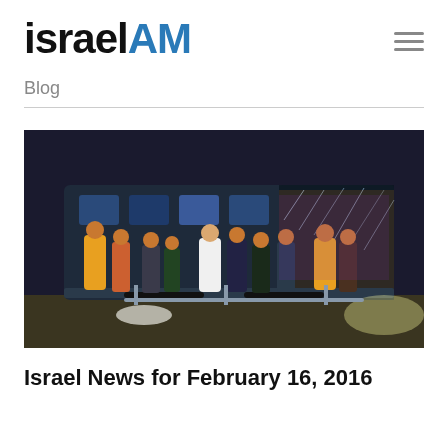israelAM
Blog
[Figure (photo): Night scene showing emergency responders and bystanders standing beside a damaged bus after what appears to be an attack or accident. The bus has shattered windows on the right side and people in yellow vests (emergency personnel) are visible along with other individuals.]
Israel News for February 16, 2016